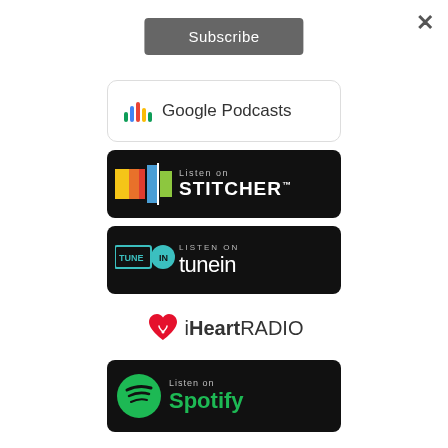×
Subscribe
[Figure (logo): Google Podcasts badge with colorful bar icon and text 'Google Podcasts']
[Figure (logo): Listen on Stitcher badge, black background with colored blocks logo and white text 'Listen on STITCHER']
[Figure (logo): Listen on TuneIn badge, black background with teal TUNE IN logo and white text 'LISTEN ON tunein']
[Figure (logo): iHeartRADIO logo with red heart icon and text 'iHeartRADIO']
[Figure (logo): Listen on Spotify badge, black background with green Spotify logo and text 'Listen on Spotify']